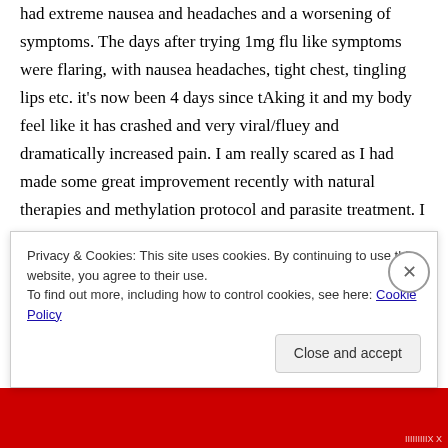had extreme nausea and headaches and a worsening of symptoms. The days after trying 1mg flu like symptoms were flaring, with nausea headaches, tight chest, tingling lips etc. it's now been 4 days since tAking it and my body feel like it has crashed and very viral/fluey and dramatically increased pain. I am really scared as I had made some great improvement recently with natural therapies and methylation protocol and parasite treatment. I am worried that I have ruined all my years of hard work. How did you
Privacy & Cookies: This site uses cookies. By continuing to use this website, you agree to their use. To find out more, including how to control cookies, see here: Cookie Policy